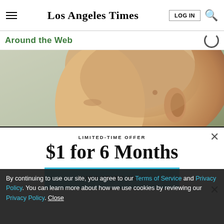Los Angeles Times
Around the Web
[Figure (photo): Close-up side profile photo of a bald person's head and ear]
LIMITED-TIME OFFER
$1 for 6 Months
SUBSCRIBE NOW
By continuing to use our site, you agree to our Terms of Service and Privacy Policy. You can learn more about how we use cookies by reviewing our Privacy Policy. Close